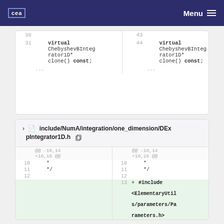CEA  Menu
| 30 |  | 43 |  |
| 31 | virtual ChebyshevBIntegrator1D* clone() const; | 44 | virtual ChebyshevBIntegrator1D* clone() const; |
| ... |  | ... |  |
include/NumA/integration/one_dimension/DExpIntegrator1D.h
| ... | @@ -10,14 +10,16 @@ | ... | @@ -10,14 +10,16 @@ |
| 10 | * | 10 | * |
| 11 | */ | 11 | */ |
| 12 |  | 12 |  |
|  |  | 13 | + #include <ElementaryUtils/parameters/Parameters.h> |
|  |  | 14 | + #include |